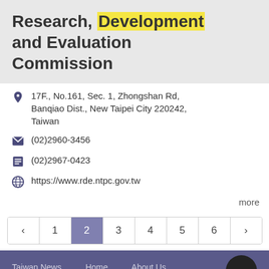Research, Development and Evaluation Commission
17F., No.161, Sec. 1, Zhongshan Rd, Banqiao Dist., New Taipei City 220242, Taiwan
(02)2960-3456
(02)2967-0423
https://www.rde.ntpc.gov.tw
more
‹ 1 2 3 4 5 6 ›
Taiwan News   Home   About Us   Advertisement   Sitemap   Contact Us   中文
Taiwan News © 2022 All Rights Reserved.